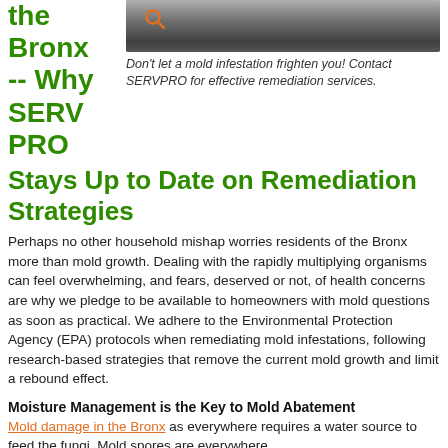the Bronx -- Why SERVPRO Stays Up to Date on Remediation Strategies
[Figure (photo): Photo of mold-covered surface with search/magnify icon overlay]
Don't let a mold infestation frighten you! Contact SERVPRO for effective remediation services.
Perhaps no other household mishap worries residents of the Bronx more than mold growth. Dealing with the rapidly multiplying organisms can feel overwhelming, and fears, deserved or not, of health concerns are why we pledge to be available to homeowners with mold questions as soon as practical. We adhere to the Environmental Protection Agency (EPA) protocols when remediating mold infestations, following research-based strategies that remove the current mold growth and limit a rebound effect.
Moisture Management is the Key to Mold Abatement
Mold damage in the Bronx as everywhere requires a water source to feed the fungi. Mold spores are everywhere,